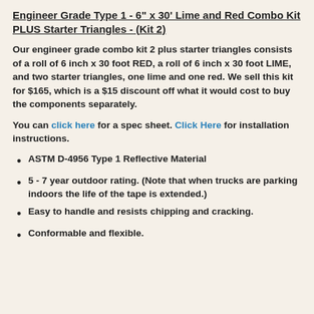Engineer Grade Type 1 - 6" x 30' Lime and Red Combo Kit PLUS Starter Triangles - (Kit 2)
Our engineer grade combo kit 2 plus starter triangles consists of a roll of 6 inch x 30 foot RED, a roll of 6 inch x 30 foot LIME, and two starter triangles, one lime and one red. We sell this kit for $165, which is a $15 discount off what it would cost to buy the components separately.
You can click here for a spec sheet. Click Here for installation instructions.
ASTM D-4956 Type 1 Reflective Material
5 - 7 year outdoor rating. (Note that when trucks are parking indoors the life of the tape is extended.)
Easy to handle and resists chipping and cracking.
Conformable and flexible.